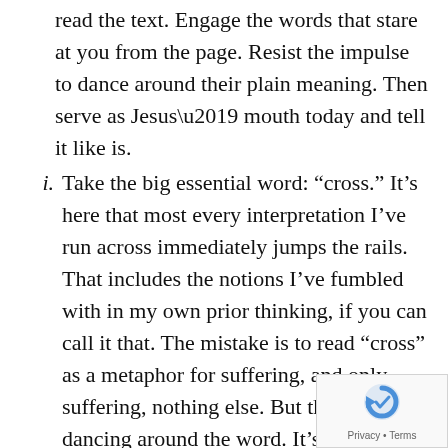read the text. Engage the words that stare at you from the page. Resist the impulse to dance around their plain meaning. Then serve as Jesus’ mouth today and tell it like is.
i. Take the big essential word: “cross.” It’s here that most every interpretation I’ve run across immediately jumps the rails. That includes the notions I’ve fumbled with in my own prior thinking, if you can call it that. The mistake is to read “cross” as a metaphor for suffering, and only suffering, nothing else. But that’s dancing around the word. It’s refusing to grab hold of the plain meaning of the thing.
[Figure (other): reCAPTCHA logo with Privacy and Terms text overlay in bottom-right corner]